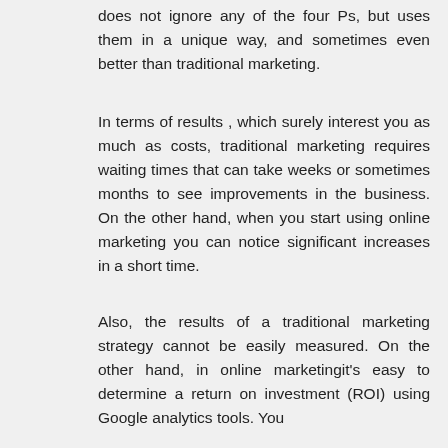does not ignore any of the four Ps, but uses them in a unique way, and sometimes even better than traditional marketing.
In terms of results , which surely interest you as much as costs, traditional marketing requires waiting times that can take weeks or sometimes months to see improvements in the business. On the other hand, when you start using online marketing you can notice significant increases in a short time.
Also, the results of a traditional marketing strategy cannot be easily measured. On the other hand, in online marketingit's easy to determine a return on investment (ROI) using Google analytics tools. You